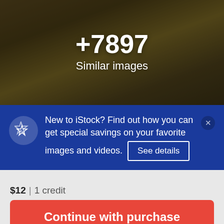[Figure (photo): Close-up photo of cannabis/marijuana buds on a dark surface, with dark olive-green and brown tones. Overlay shows '+7897 Similar images' text in white.]
+7897
Similar images
New to iStock? Find out how you can get special savings on your favorite images and videos.
See details
$12 | 1 credit
Continue with purchase